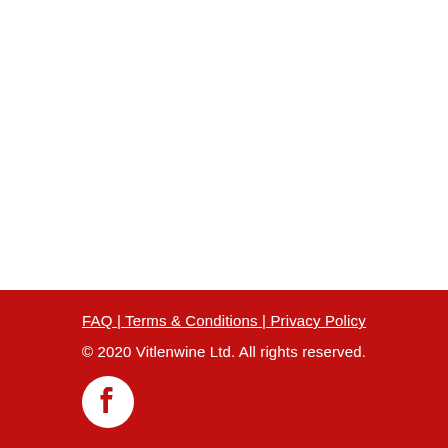FAQ | Terms & Conditions | Privacy Policy
© 2020 Vitlenwine Ltd. All rights reserved.